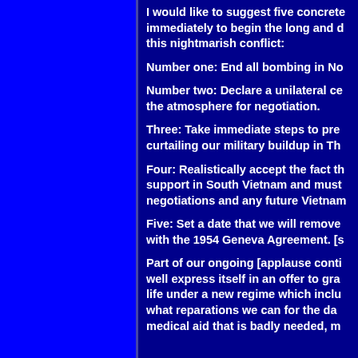I would like to suggest five concrete steps that can be taken immediately to begin the long and difficult process of ending this nightmarish conflict:
Number one: End all bombing in No[rth Vietnam]
Number two: Declare a unilateral ce[asefire] to improve the atmosphere for negotiation.
Three: Take immediate steps to pre[vent escalation by] curtailing our military buildup in Th[ailand/the region]
Four: Realistically accept the fact th[at the NLF has widespread] support in South Vietnam and must [be included in all] negotiations and any future Vietnam[ese government]
Five: Set a date that we will remove [troops in accordance] with the 1954 Geneva Agreement. [s]
Part of our ongoing [applause conti[nues] might] well express itself in an offer to gra[nt amnesty to] life under a new regime which inclu[des compensating] what reparations we can for the da[mage done and] medical aid that is badly needed, m[ore broadly]